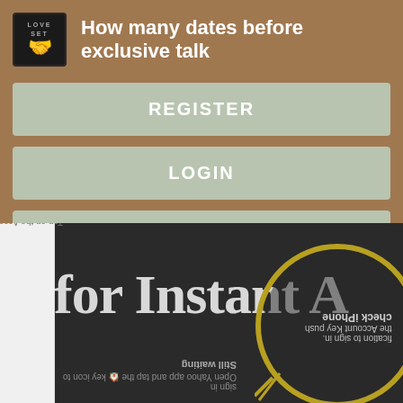How many dates before exclusive talk
REGISTER
LOGIN
CONTACT US
[Figure (screenshot): Bottom portion showing a partially visible screenshot of another app page with upside-down text and a magnifier graphic, containing phrases like 'for Instant A', 'check iPhone', and other flipped instructional text]